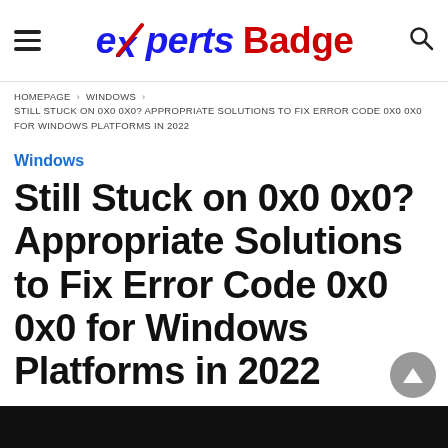experts Badge
HOMEPAGE › WINDOWS › STILL STUCK ON 0X0 0X0? APPROPRIATE SOLUTIONS TO FIX ERROR CODE 0X0 0X0 FOR WINDOWS PLATFORMS IN 2022
Windows
Still Stuck on 0x0 0x0? Appropriate Solutions to Fix Error Code 0x0 0x0 for Windows Platforms in 2022